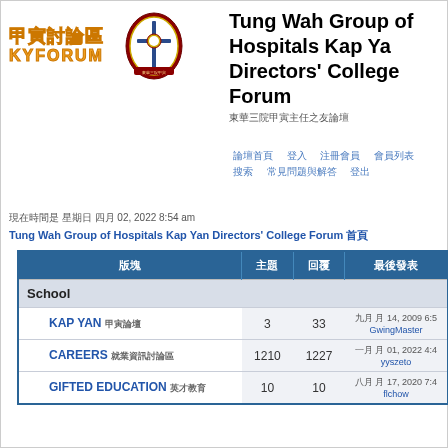[Figure (logo): KYFORUM Chinese and English logo with school crest]
Tung Wah Group of Hospitals Kap Yan Directors' College Forum
Chinese subtitle characters
Nav row 1: Chinese nav links
Nav row 2: Chinese nav links
Date: Chinese date 02, 2022 8:54 am
Tung Wah Group of Hospitals Kap Yan Directors' College Forum Chinese characters
| 論壇 | 主題 | 回覆 | 最後發表 |
| --- | --- | --- | --- |
| School |  |  |  |
| KAP YAN 甲寅論壇 | 3 | 33 | Chinese date 14, 2009 6:5
GwingMaster |
| CAREERS 就業資訊討論區 | 1210 | 1227 | Chinese date 01, 2022 4:4
yyszeto |
| GIFTED EDUCATION 英才教育 | 10 | 10 | Chinese date 17, 2020 7:4
flchow |